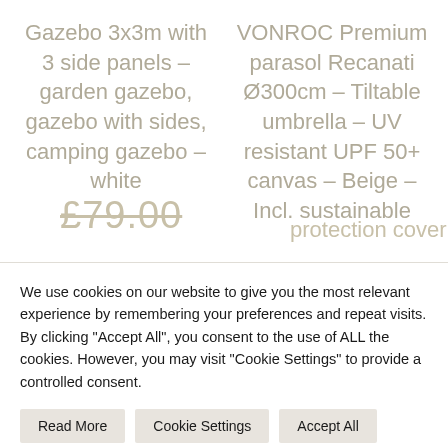Gazebo 3x3m with 3 side panels – garden gazebo, gazebo with sides, camping gazebo – white
VONROC Premium parasol Recanati Ø300cm – Tiltable umbrella – UV resistant UPF 50+ canvas – Beige – Incl. sustainable protection cover
£79.00 (strikethrough price)
protection cover
We use cookies on our website to give you the most relevant experience by remembering your preferences and repeat visits. By clicking "Accept All", you consent to the use of ALL the cookies. However, you may visit "Cookie Settings" to provide a controlled consent.
Read More
Cookie Settings
Accept All